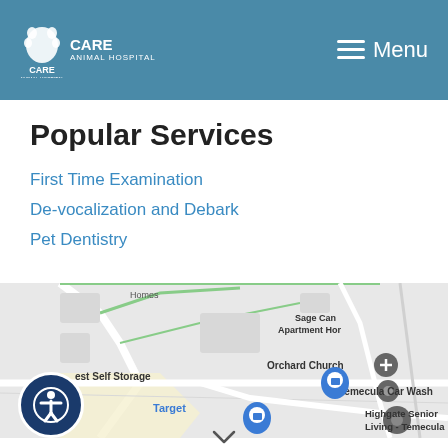CARE ANIMAL HOSPITAL  Menu
Popular Services
First Time Examination
De-vocalization and Debark
Pet Dentistry
[Figure (map): Google Maps screenshot showing local area near Temecula with labels: Sage Canyon Apartment Homes, Orchard Church, Temecula Car Wash, est Self Storage, Target, Highgate Senior Living - Temecula]